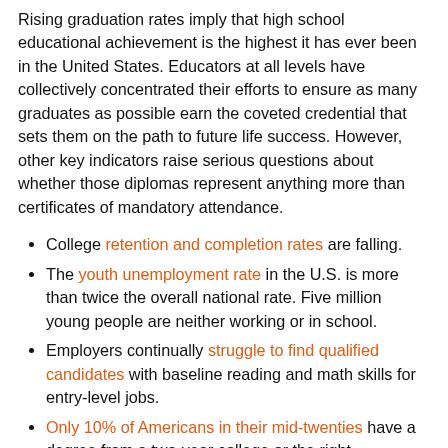Rising graduation rates imply that high school educational achievement is the highest it has ever been in the United States. Educators at all levels have collectively concentrated their efforts to ensure as many graduates as possible earn the coveted credential that sets them on the path to future life success. However, other key indicators raise serious questions about whether those diplomas represent anything more than certificates of mandatory attendance.
College retention and completion rates are falling.
The youth unemployment rate in the U.S. is more than twice the overall national rate. Five million young people are neither working or in school.
Employers continually struggle to find qualified candidates with baseline reading and math skills for entry-level jobs.
Only 10% of Americans in their mid-twenties have a degree from a two-year college or the right postsecondary training or certification to get a job requiring technical skills that pays above the living wage.